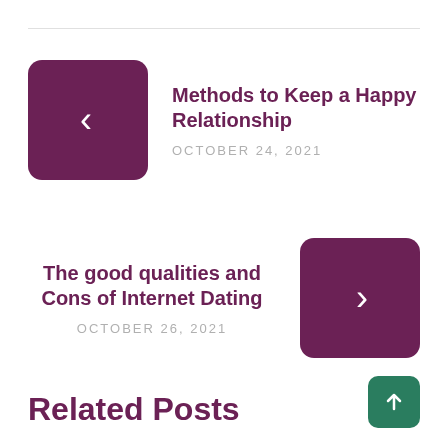Methods to Keep a Happy Relationship
OCTOBER 24, 2021
The good qualities and Cons of Internet Dating
OCTOBER 26, 2021
Related Posts